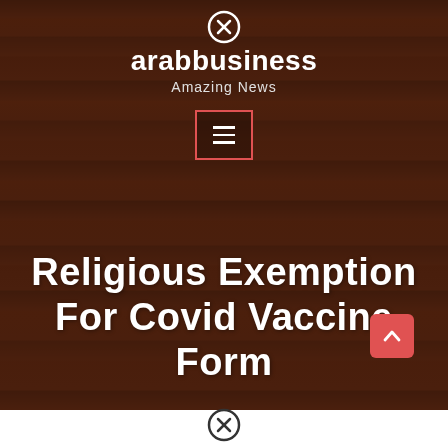arabbusiness — Amazing News
[Figure (screenshot): Website header with arabbusiness logo, 'Amazing News' tagline, close button icon, and hamburger menu button with red border on dark wood-textured background]
Religious Exemption For Covid Vaccine Form
[Figure (other): Scroll-to-top button (salmon/red rounded square with upward arrow) in lower right, and a close/cancel circle icon at the bottom center]